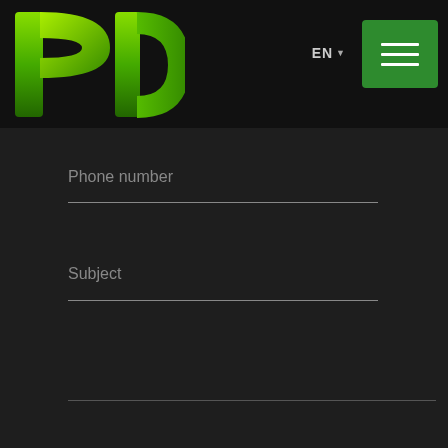[Figure (logo): Green stylized 'PD' logo on dark background header]
EN ▼
[Figure (other): Green hamburger menu button with three white horizontal bars]
Phone number
Subject